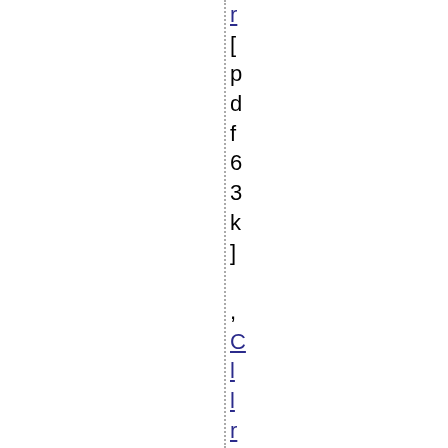r [pdf 63k] , CllrSteveBurgess , Gre